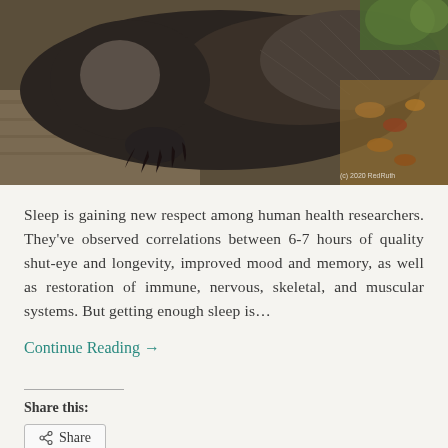[Figure (photo): Close-up photo of a groundhog or woodchuck lying on a wooden surface, showing its dark claws and furry body with autumn leaves visible in the background. Watermark reads '(c) 2020 RedRuth'.]
Sleep is gaining new respect among human health researchers. They've observed correlations between 6-7 hours of quality shut-eye and longevity, improved mood and memory, as well as restoration of immune, nervous, skeletal, and muscular systems. But getting enough sleep is...
Continue Reading →
Share this:
Share